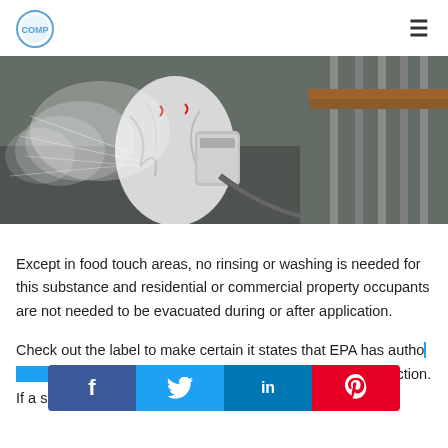[Logo] [Hamburger menu]
[Figure (photo): Person in white hazmat suit spraying disinfectant in a stairwell with handrail visible on the right]
Except in food touch areas, no rinsing or washing is needed for this substance and residential or commercial property occupants are not needed to be evacuated during or after application.
Check out the label to make certain it states that EPA has authorized its efficiency versus influenza An infection. If a surface is not